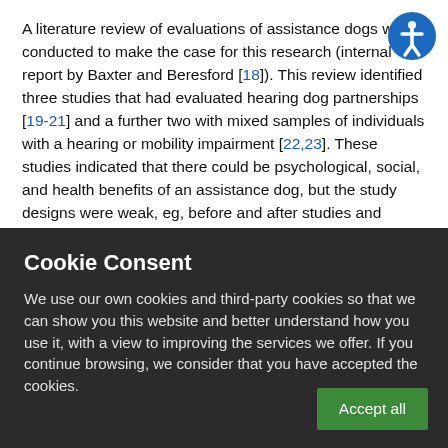A literature review of evaluations of assistance dogs was conducted to make the case for this research (internal report by Baxter and Beresford [18]). This review identified three studies that had evaluated hearing dog partnerships [19-21] and a further two with mixed samples of individuals with a hearing or mobility impairment [22,23]. These studies indicated that there could be psychological, social, and health benefits of an assistance dog, but the study designs were weak, eg, before and after studies and nonrandomized comparative studies, often with small samples. Only two studies, both mixed samples of individuals with a hearing
Cookie Consent
We use our own cookies and third-party cookies so that we can show you this website and better understand how you use it, with a view to improving the services we offer. If you continue browsing, we consider that you have accepted the cookies.